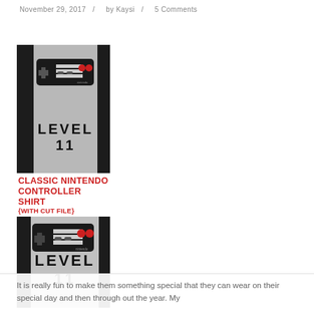November 29, 2017   /   by Kaysi   /   5 Comments
[Figure (photo): Two photos of a gray raglan baseball shirt with a Classic Nintendo controller graphic and 'LEVEL 11' text printed on it. Between the photos is red text reading 'CLASSIC NINTENDO CONTROLLER SHIRT {WITH CUT FILE}'. The bottom photo also shows a 'Keeping it Simple' watermark.]
It is really fun to make them something special that they can wear on their special day and then through out the year.  My